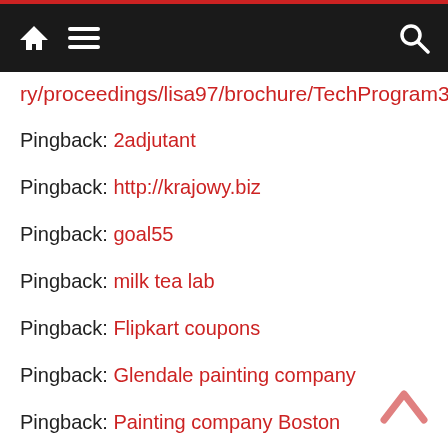Navigation bar with home, menu, and search icons
ry/proceedings/lisa97/brochure/TechProgram3.html
Pingback: 2adjutant
Pingback: http://krajowy.biz
Pingback: goal55
Pingback: milk tea lab
Pingback: Flipkart coupons
Pingback: Glendale painting company
Pingback: Painting company Boston
Pingback: Kampala International University
Pingback: Study MBBS in Georgia